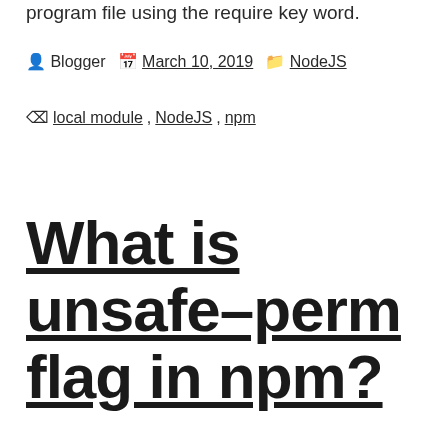program file using the require key word.
Blogger   March 10, 2019   NodeJS
local module , NodeJS , npm
What is unsafe-perm flag in npm?